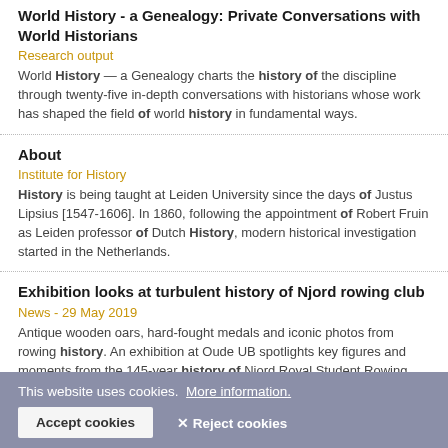World History - a Genealogy: Private Conversations with World Historians
Research output
World History — a Genealogy charts the history of the discipline through twenty-five in-depth conversations with historians whose work has shaped the field of world history in fundamental ways.
About
Institute for History
History is being taught at Leiden University since the days of Justus Lipsius [1547-1606]. In 1860, following the appointment of Robert Fruin as Leiden professor of Dutch History, modern historical investigation started in the Netherlands.
Exhibition looks at turbulent history of Njord rowing club
News - 29 May 2019
Antique wooden oars, hard-fought medals and iconic photos from rowing history. An exhibition at Oude UB spotlights key figures and moments from the 145-year history of Njord Royal Student Rowing Club.
This website uses cookies. More information.
Accept cookies
✕ Reject cookies